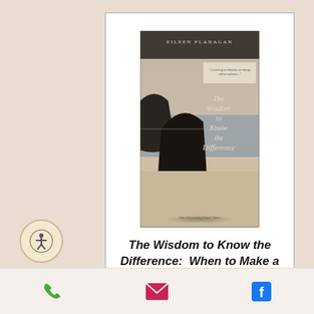[Figure (photo): Book cover of 'The Wisdom to Know the Difference' by Eileen Flanagan, showing a rocky coastal landscape with moody sky]
The Wisdom to Know the Difference:  When to Make a Change - And When to Let Go
Eileen Flanagan
Paperback, 288 pages
BOOKSHOP
AMAZON
[Figure (photo): Partial view of another book cover with gold/dark coloring showing 'ANAM CARA' text]